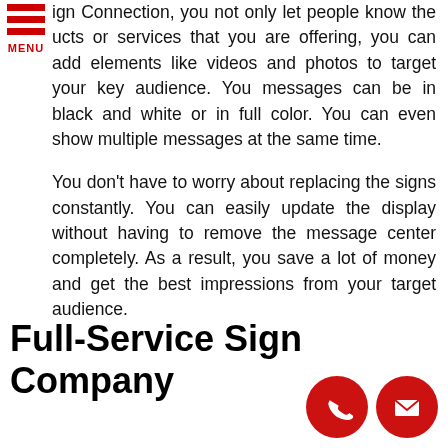[Figure (logo): Red hamburger menu icon with three horizontal red bars and MENU text in red below]
ign Connection, you not only let people know the ucts or services that you are offering, you can add elements like videos and photos to target your key audience. You messages can be in black and white or in full color. You can even show multiple messages at the same time.

You don't have to worry about replacing the signs constantly. You can easily update the display without having to remove the message center completely. As a result, you save a lot of money and get the best impressions from your target audience.
Full-Service Sign Company
[Figure (illustration): Two red circular icons in the bottom right: a phone/handset icon and an envelope/mail icon]